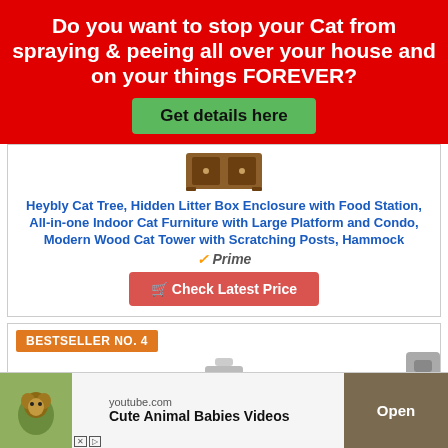Do you want to stop your Cat from spraying & peeing all over your house and on your things FOREVER?
Get details here
[Figure (photo): Wooden cat furniture/litter box enclosure product image]
Heybly Cat Tree, Hidden Litter Box Enclosure with Food Station, All-in-one Indoor Cat Furniture with Large Platform and Condo, Modern Wood Cat Tower with Scratching Posts, Hammock
Prime
Check Latest Price
BESTSELLER NO. 4
[Figure (photo): White supplement bottle product image]
Cute Animal Babies Videos
youtube.com
Open